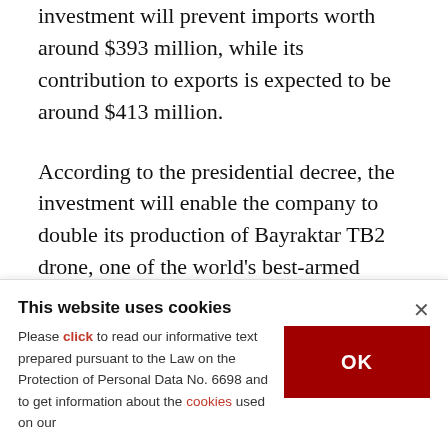investment will prevent imports worth around $393 million, while its contribution to exports is expected to be around $413 million.
According to the presidential decree, the investment will enable the company to double its production of Bayraktar TB2 drone, one of the world's best-armed UAVs, to 92 units per year. It will also add the capacity to manufacture 24 Akıncı armed drones, an upgraded version of the trademark platform Bayraktar TB2, and 36 other
This website uses cookies
Please click to read our informative text prepared pursuant to the Law on the Protection of Personal Data No. 6698 and to get information about the cookies used on our